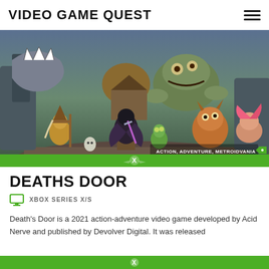VIDEO GAME QUEST
[Figure (illustration): Promotional artwork for Deaths Door video game showing colorful animated characters including a crow warrior with a sword, various fantasy creatures, and monsters in a stylized environment. Tags overlay reads: ACTION, ADVENTURE, METROIDVANIA. Xbox logo on green bar at bottom.]
DEATHS DOOR
XBOX SERIES X/S
Death's Door is a 2021 action-adventure video game developed by Acid Nerve and published by Devolver Digital. It was released